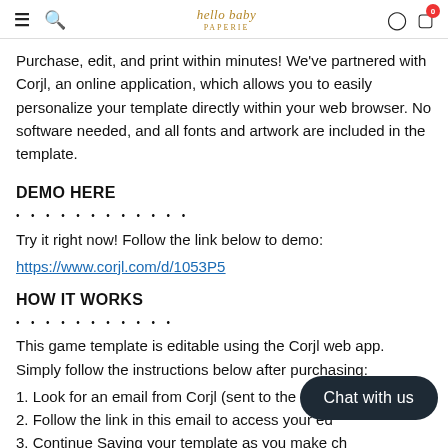hello baby PAPERIE
Purchase, edit, and print within minutes! We've partnered with Corjl, an online application, which allows you to easily personalize your template directly within your web browser. No software needed, and all fonts and artwork are included in the template.
DEMO HERE
• • • • • • • • • • • •
Try it right now! Follow the link below to demo:
https://www.corjl.com/d/1053P5
HOW IT WORKS
• • • • • • • • • • •
This game template is editable using the Corjl web app. Simply follow the instructions below after purchasing:
1. Look for an email from Corjl (sent to the email address on your Etsy account)
2. Follow the link in this email to access your editable template
3. Continue Saving your template as you make changes
4. When you're ready to print, download the PDF or JPG